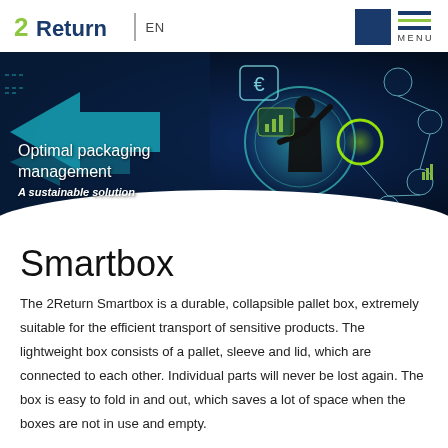2Return | EN MENU
[Figure (photo): Hero banner showing a business person interacting with a digital network interface with icons including Euro sign, supply chain nodes, and logistics symbols. Text overlay: 'Optimal packaging management. A sustainable solution.']
Smartbox
The 2Return Smartbox is a durable, collapsible pallet box, extremely suitable for the efficient transport of sensitive products. The lightweight box consists of a pallet, sleeve and lid, which are connected to each other. Individual parts will never be lost again. The box is easy to fold in and out, which saves a lot of space when the boxes are not in use and empty.